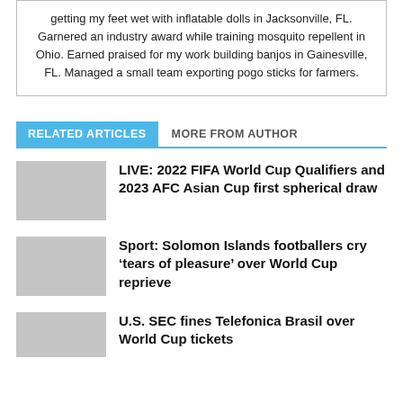getting my feet wet with inflatable dolls in Jacksonville, FL. Garnered an industry award while training mosquito repellent in Ohio. Earned praised for my work building banjos in Gainesville, FL. Managed a small team exporting pogo sticks for farmers.
RELATED ARTICLES   MORE FROM AUTHOR
LIVE: 2022 FIFA World Cup Qualifiers and 2023 AFC Asian Cup first spherical draw
Sport: Solomon Islands footballers cry ‘tears of pleasure’ over World Cup reprieve
U.S. SEC fines Telefonica Brasil over World Cup tickets